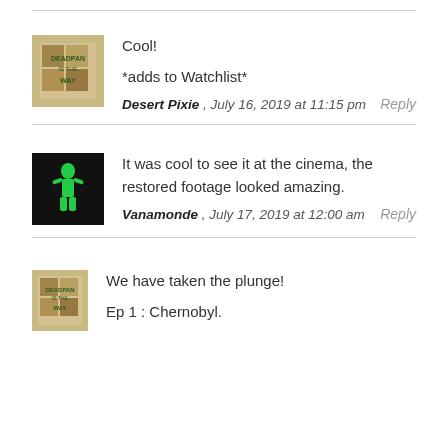Cool!

*adds to Watchlist*
Desert Pixie , July 16, 2019 at 11:15 pm    Reply
It was cool to see it at the cinema, the restored footage looked amazing.
Vanamonde , July 17, 2019 at 12:00 am    Reply
We have taken the plunge!

Ep 1 : Chernobyl.